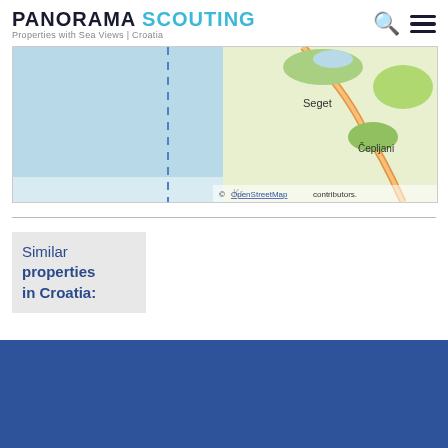PANORAMA SCOUTING Properties with Sea Views | Croatia
[Figure (map): OpenStreetMap showing coastal area near Seget and Čepljani, Croatia, with sea/water area on the left and land with roads on the right. A dashed blue boundary line is visible.]
© OpenStreetMap contributors.
Similar properties in Croatia:
[Figure (photo): Blue rectangle placeholder for a property photo]